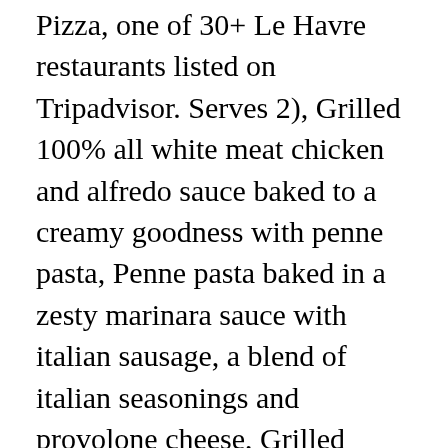Pizza, one of 30+ Le Havre restaurants listed on Tripadvisor. Serves 2), Grilled 100% all white meat chicken and alfredo sauce baked to a creamy goodness with penne pasta, Penne pasta baked in a zesty marinara sauce with italian sausage, a blend of italian seasonings and provolone cheese, Grilled 100% all white meat chicken, bacon, onions and mushrooms mixed with penne pasta and baked to perfection with creamy alfredo sauce, A flavorful blend of melted cheeses mixed with penne pasta and baked to creamy perfection, Spinach, diced tomatoes, mushrooms and onions mixed with penne pasta and baked with a creamy alfredo sauce, Choose a sauce marinara, alfredo or three